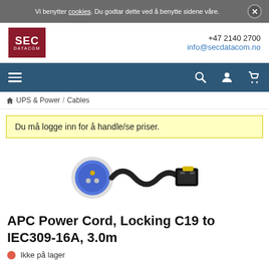Vi benytter cookies. Du godtar dette ved å benytte sidene våre.
[Figure (logo): SEC DATACOM logo in dark red/maroon box]
+47 2140 2700
info@secdatacom.no
UPS & Power / Cables
Du må logge inn for å handle/se priser.
[Figure (photo): APC Power Cord with blue IEC309-16A plug on left and locking C19 connector on right, black cable coiled]
APC Power Cord, Locking C19 to IEC309-16A, 3.0m
Ikke på lager